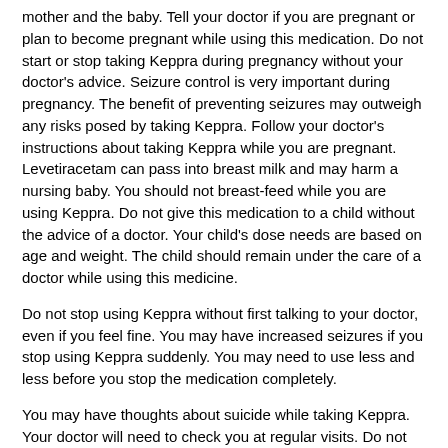mother and the baby. Tell your doctor if you are pregnant or plan to become pregnant while using this medication. Do not start or stop taking Keppra during pregnancy without your doctor's advice. Seizure control is very important during pregnancy. The benefit of preventing seizures may outweigh any risks posed by taking Keppra. Follow your doctor's instructions about taking Keppra while you are pregnant. Levetiracetam can pass into breast milk and may harm a nursing baby. You should not breast-feed while you are using Keppra. Do not give this medication to a child without the advice of a doctor. Your child's dose needs are based on age and weight. The child should remain under the care of a doctor while using this medicine.
Do not stop using Keppra without first talking to your doctor, even if you feel fine. You may have increased seizures if you stop using Keppra suddenly. You may need to use less and less before you stop the medication completely.
You may have thoughts about suicide while taking Keppra. Your doctor will need to check you at regular visits. Do not miss any scheduled appointments.
Report any new or worsening symptoms to your doctor, such as: mood or behavior changes, depression, anxiety, or if you feel agitated, hostile, irritable, hyperactive (mentally or physically), or have thoughts about suicide or hurting yourself.